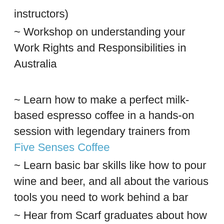instructors)
~ Workshop on understanding your Work Rights and Responsibilities in Australia
~ Learn how to make a perfect milk-based espresso coffee in a hands-on session with legendary trainers from Five Senses Coffee
~ Learn basic bar skills like how to pour wine and beer, and all about the various tools you need to work behind a bar
~ Hear from Scarf graduates about how they found and sustained employment beyond the program
~ Hear from female hospitality professionals